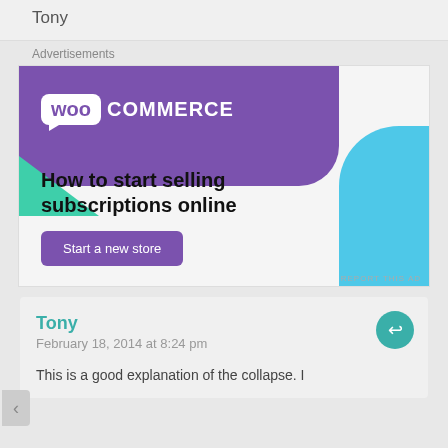Tony
Advertisements
[Figure (screenshot): WooCommerce advertisement banner: purple background with WooCommerce logo, green triangle shape, blue curved shape, headline 'How to start selling subscriptions online', and 'Start a new store' button]
Tony
February 18, 2014 at 8:24 pm
This is a good explanation of the collapse. I